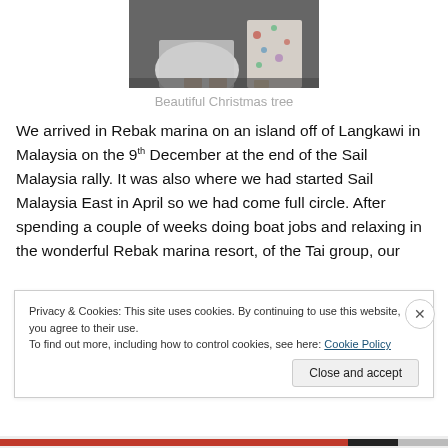[Figure (photo): Partial view of people near a Christmas tree, bottom portion showing white satin fabric and a floral dress]
Beautiful Christmas tree
We arrived in Rebak marina on an island off of Langkawi in Malaysia on the 9th December at the end of the Sail Malaysia rally. It was also where we had started Sail Malaysia East in April so we had come full circle. After spending a couple of weeks doing boat jobs and relaxing in the wonderful Rebak marina resort, of the Tai group, our
Privacy & Cookies: This site uses cookies. By continuing to use this website, you agree to their use.
To find out more, including how to control cookies, see here: Cookie Policy
Close and accept